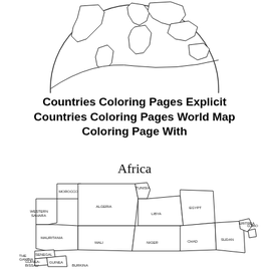[Figure (illustration): Line drawing of a globe showing world continents from a top-down perspective]
Countries Coloring Pages Explicit Countries Coloring Pages World Map Coloring Page With
Africa
[Figure (map): Outline map of Africa showing northern African countries with labels: MOROCCO, WESTERN SAHARA, MAURITANIA, ALGERIA, TUNISIA, LIBYA, EGYPT, MALI, NIGER, CHAD, SUDAN, ERITREA, THE GAMBIA, SENEGAL, GUINEA-BISSAU, GUINEA, BURKINA FASO, DJIBOUTI]